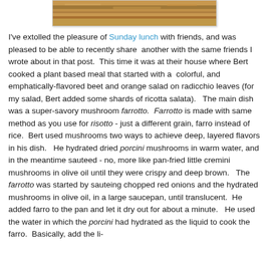[Figure (photo): Partial view of a food dish photo at top of page]
I've extolled the pleasure of Sunday lunch with friends, and was pleased to be able to recently share another with the same friends I wrote about in that post. This time it was at their house where Bert cooked a plant based meal that started with a colorful, and emphatically-flavored beet and orange salad on radicchio leaves (for my salad, Bert added some shards of ricotta salata). The main dish was a super-savory mushroom farrotto. Farrotto is made with same method as you use for risotto - just a different grain, farro instead of rice. Bert used mushrooms two ways to achieve deep, layered flavors in his dish. He hydrated dried porcini mushrooms in warm water, and in the meantime sauteed - no, more like pan-fried little cremini mushrooms in olive oil until they were crispy and deep brown. The farrotto was started by sauteing chopped red onions and the hydrated mushrooms in olive oil, in a large saucepan, until translucent. He added farro to the pan and let it dry out for about a minute. He used the water in which the porcini had hydrated as the liquid to cook the farro. Basically, add the liquid a cup at a time, stirring until absorbed...